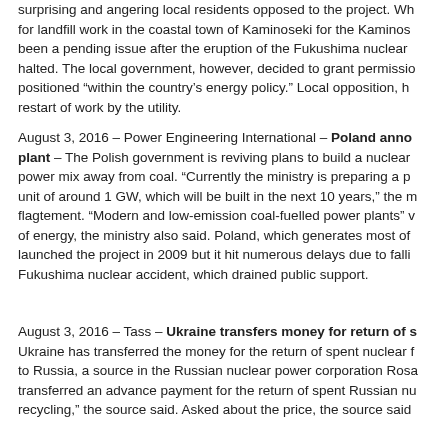surprising and angering local residents opposed to the project. Wh for landfill work in the coastal town of Kaminoseki for the Kaminos been a pending issue after the eruption of the Fukushima nuclear halted. The local government, however, decided to grant permissio positioned “within the country’s energy policy.” Local opposition, h restart of work by the utility.
August 3, 2016 – Power Engineering International – Poland anno plant – The Polish government is reviving plans to build a nuclear power mix away from coal. “Currently the ministry is preparing a p unit of around 1 GW, which will be built in the next 10 years,” the m flagtement. “Modern and low-emission coal-fuelled power plants” v of energy, the ministry also said. Poland, which generates most of launched the project in 2009 but it hit numerous delays due to falli Fukushima nuclear accident, which drained public support.
August 3, 2016 – Tass – Ukraine transfers money for return of s Ukraine has transferred the money for the return of spent nuclear f to Russia, a source in the Russian nuclear power corporation Rosa transferred an advance payment for the return of spent Russian nu recycling,” the source said. Asked about the price, the source said